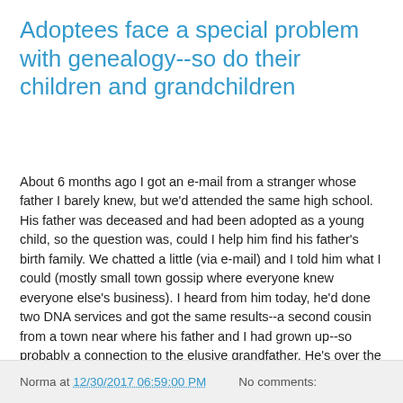Adoptees face a special problem with genealogy--so do their children and grandchildren
About 6 months ago I got an e-mail from a stranger whose father I barely knew, but we'd attended the same high school. His father was deceased and had been adopted as a young child, so the question was, could I help him find his father's birth family. We chatted a little (via e-mail) and I told him what I could (mostly small town gossip where everyone knew everyone else's business). I heard from him today, he'd done two DNA services and got the same results--a second cousin from a town near where his father and I had grown up--so probably a connection to the elusive grandfather. He's over the moon. He's done extremely well in life, has a wonderful family, good education and great career. But he just always wanted to know.
. .
Norma at 12/30/2017 06:59:00 PM   No comments: